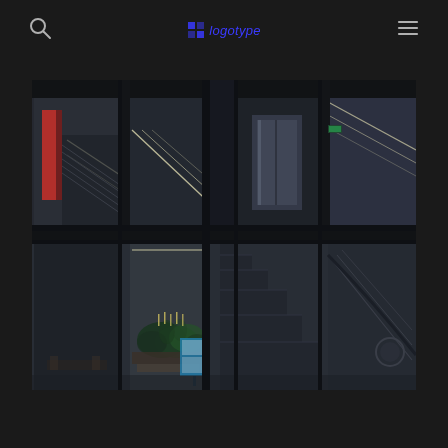logotype
[Figure (photo): Dark interior of a modern building/airport with glass panels and structural columns, showing escalators, plants, and LED strip lighting across two levels viewed from outside at night]